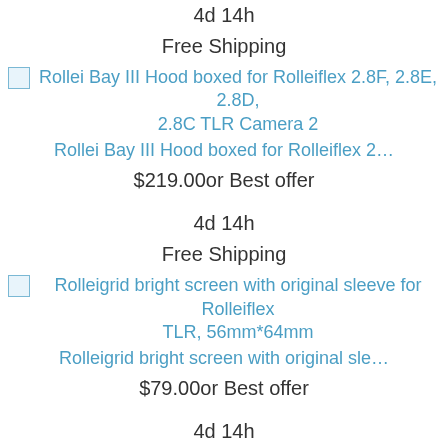4d 14h
Free Shipping
[Figure (photo): Rollei Bay III Hood boxed for Rolleiflex 2.8F, 2.8E, 2.8D, 2.8C TLR Camera 2 (broken image placeholder)]
Rollei Bay III Hood boxed for Rolleiflex 2…
$219.00or Best offer
4d 14h
Free Shipping
[Figure (photo): Rolleigrid bright screen with original sleeve for Rolleiflex TLR, 56mm*64mm (broken image placeholder)]
Rolleigrid bright screen with original sle…
$79.00or Best offer
4d 14h
Free Shipping
[Figure (photo): Rollei Bay I Close up filter Rolleinar 3 for Rolleiflex, (broken image placeholder)]